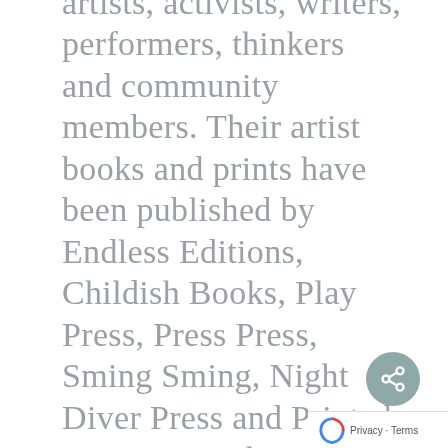artists, activists, writers, performers, thinkers and community members. Their artist books and prints have been published by Endless Editions, Childish Books, Play Press, Press Press, Sming Sming, Night Diver Press and Printed Matter Inc. They are a founding member of Moments Co-op and Community Space in Downtown Oakland, CA and are honored to be showing work in the windows of Roll Up Project.